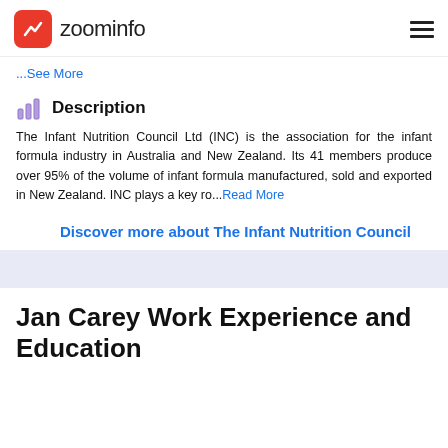zoominfo
...See More
Description
The Infant Nutrition Council Ltd (INC) is the association for the infant formula industry in Australia and New Zealand. Its 41 members produce over 95% of the volume of infant formula manufactured, sold and exported in New Zealand. INC plays a key ro...Read More
Discover more about The Infant Nutrition Council
Jan Carey Work Experience and Education